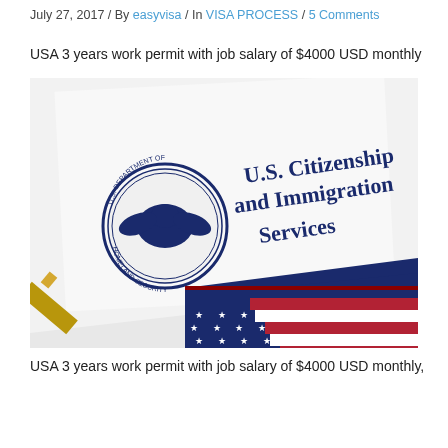July 27, 2017 / By easyvisa / In VISA PROCESS / 5 Comments
USA 3 years work permit with job salary of $4000 USD monthly
[Figure (photo): Photo of a U.S. Citizenship and Immigration Services official document with the Department of Homeland Security seal, a pen, and an American flag in the foreground]
USA 3 years work permit with job salary of $4000 USD monthly,